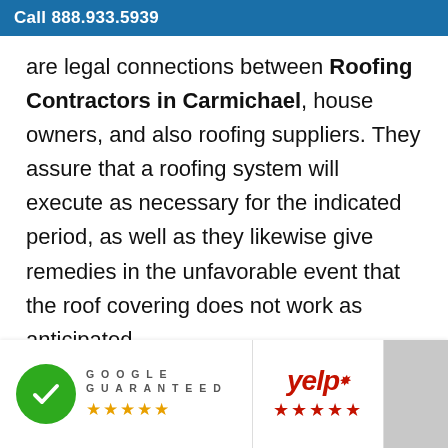Call 888.933.5939
are legal connections between Roofing Contractors in Carmichael, house owners, and also roofing suppliers. They assure that a roofing system will execute as necessary for the indicated period, as well as they likewise give remedies in the unfavorable event that the roof covering does not work as anticipated.
Guarantees typically have various insurance coverages as well as can be provided by roofing manufacturers or contractors. Therefore, the Roofing Contractors in Carmichael warranties are maker service
[Figure (logo): Google Guaranteed badge with green checkmark circle and 5 orange stars]
[Figure (logo): Yelp logo with 5 red stars]